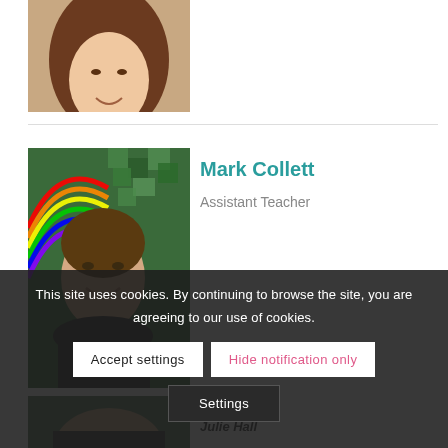[Figure (photo): Partial photo of a woman with long brown hair and a dark blue knit scarf, smiling, visible from chin to shoulders.]
[Figure (photo): Photo of a young man smiling, standing in front of a colorful mosaic background with a rainbow visible on the left side.]
Mark Collett
Assistant Teacher
This site uses cookies. By continuing to browse the site, you are agreeing to our use of cookies.
Accept settings
Hide notification only
Settings
[Figure (photo): Partial photo of another person, only top of head visible at bottom of page.]
Julie Hall